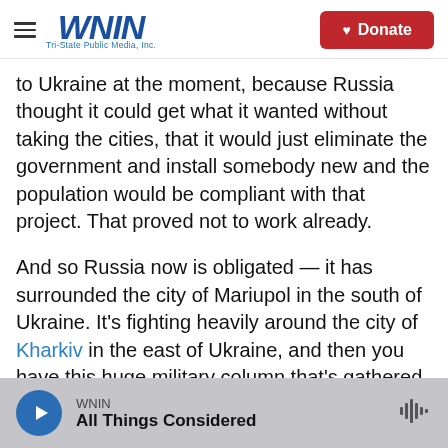WNIN Tri-State Public Media, Inc. | Donate
to Ukraine at the moment, because Russia thought it could get what it wanted without taking the cities, that it would just eliminate the government and install somebody new and the population would be compliant with that project. That proved not to work already.
And so Russia now is obligated — it has surrounded the city of Mariupol in the south of Ukraine. It's fighting heavily around the city of Kharkiv in the east of Ukraine, and then you have this huge military column that's gathered around Kyiv, the capital city.
WNIN | All Things Considered